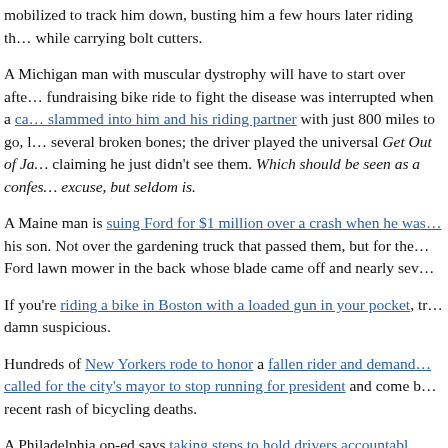After a homeless man stole a $10,000 road bike off a car rack, Tuls… mobilized to track him down, busting him a few hours later riding th… while carrying bolt cutters.
A Michigan man with muscular dystrophy will have to start over afte… fundraising bike ride to fight the disease was interrupted when a ca… slammed into him and his riding partner with just 800 miles to go, l… several broken bones; the driver played the universal Get Out of Ja… claiming he just didn't see them. Which should be seen as a confes… excuse, but seldom is.
A Maine man is suing Ford for $1 million over a crash when he was… his son. Not over the gardening truck that passed them, but for the… Ford lawn mower in the back whose blade came off and nearly sev…
If you're riding a bike in Boston with a loaded gun in your pocket, tr… damn suspicious.
Hundreds of New Yorkers rode to honor a fallen rider and demand… called for the city's mayor to stop running for president and come b… recent rash of bicycling deaths.
A Philadelphia op-ed says taking steps to hold drivers accountabl…